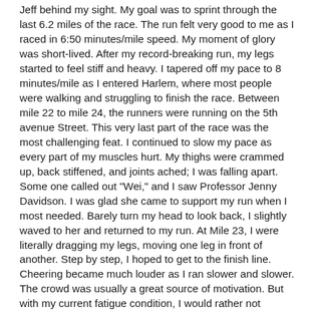Jeff behind my sight. My goal was to sprint through the last 6.2 miles of the race. The run felt very good to me as I raced in 6:50 minutes/mile speed. My moment of glory was short-lived. After my record-breaking run, my legs started to feel stiff and heavy. I tapered off my pace to 8 minutes/mile as I entered Harlem, where most people were walking and struggling to finish the race. Between mile 22 to mile 24, the runners were running on the 5th avenue Street. This very last part of the race was the most challenging feat. I continued to slow my pace as every part of my muscles hurt. My thighs were crammed up, back stiffened, and joints ached; I was falling apart. Some one called out "Wei," and I saw Professor Jenny Davidson. I was glad she came to support my run when I most needed. Barely turn my head to look back, I slightly waved to her and returned to my run. At Mile 23, I were literally dragging my legs, moving one leg in front of another. Step by step, I hoped to get to the finish line. Cheering became much louder as I ran slower and slower. The crowd was usually a great source of motivation. But with my current fatigue condition, I would rather not respond to people in order to husband the every last bit of my energy. Hungry, thirsty, and exhausted, I tried to grab a drink of water